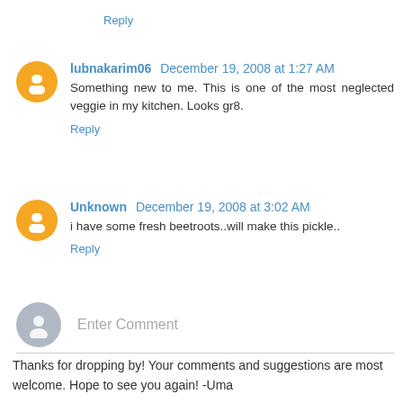Reply
lubnakarim06 December 19, 2008 at 1:27 AM
Something new to me. This is one of the most neglected veggie in my kitchen. Looks gr8.
Reply
Unknown December 19, 2008 at 3:02 AM
i have some fresh beetroots..will make this pickle..
Reply
Enter Comment
Thanks for dropping by! Your comments and suggestions are most welcome. Hope to see you again! -Uma